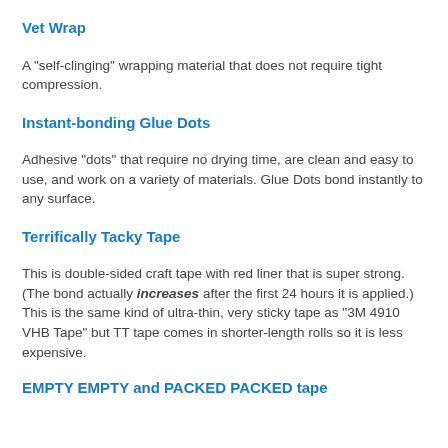Vet Wrap
A "self-clinging" wrapping material that does not require tight compression.
Instant-bonding Glue Dots
Adhesive "dots" that require no drying time, are clean and easy to use, and work on a variety of materials. Glue Dots bond instantly to any surface.
Terrifically Tacky Tape
This is double-sided craft tape with red liner that is super strong. (The bond actually increases after the first 24 hours it is applied.)  This is the same kind of ultra-thin, very sticky tape as "3M 4910 VHB Tape" but TT tape comes in shorter-length rolls so it is less expensive.
EMPTY EMPTY and PACKED PACKED tape